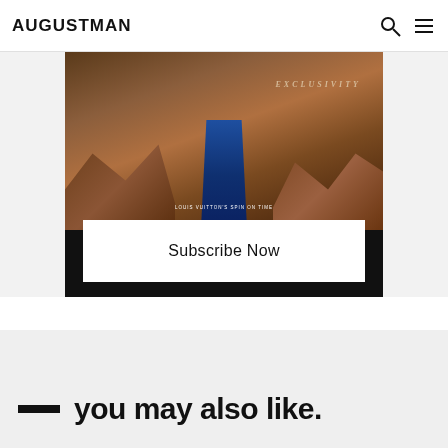AUGUSTMAN
[Figure (photo): Magazine subscription advertisement with dark background, showing jeans/denim clothing surrounded by rocks, with 'EXCLUSIVITY' text overlay and a white 'Subscribe Now' button]
you may also like.